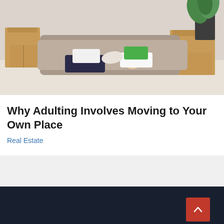[Figure (photo): A couple lying on the floor surrounded by moving boxes and a potted plant, smiling at each other in their new home]
Why Adulting Involves Moving to Your Own Place
Real Estate
RECENT POSTS